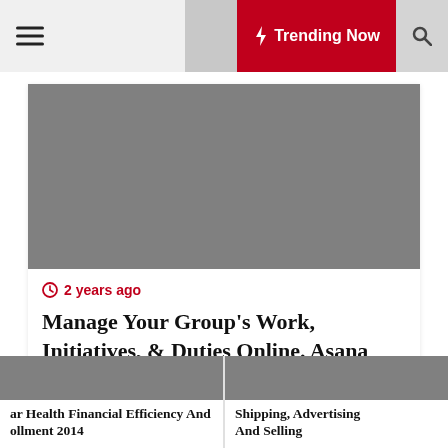≡  ☽  ⚡ Trending Now  🔍
[Figure (photo): Gray placeholder image for main article]
2 years ago
Manage Your Group's Work, Initiatives, & Duties Online. Asana
[Figure (photo): Gray placeholder image for bottom left article]
ar Health Financial Efficiency And ollment 2014
[Figure (photo): Gray placeholder image for bottom right article]
Shipping, Advertising And Selling